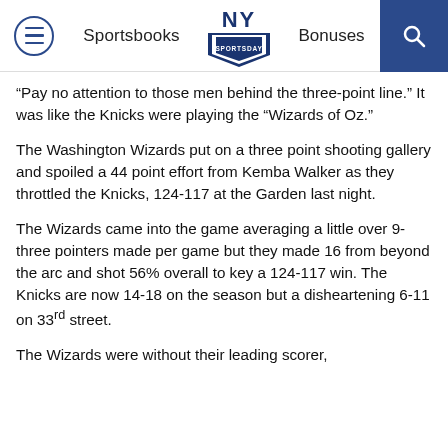NY Sportsday — Sportsbooks | Bonuses
“Pay no attention to those men behind the three-point line.” It was like the Knicks were playing the “Wizards of Oz.”
The Washington Wizards put on a three point shooting gallery and spoiled a 44 point effort from Kemba Walker as they throttled the Knicks, 124-117 at the Garden last night.
The Wizards came into the game averaging a little over 9-three pointers made per game but they made 16 from beyond the arc and shot 56% overall to key a 124-117 win. The Knicks are now 14-18 on the season but a disheartening 6-11 on 33rd street.
The Wizards were without their leading scorer,